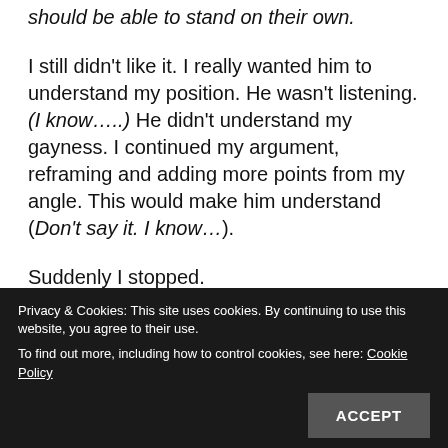should be able to stand on their own.
I still didn't like it. I really wanted him to understand my position. He wasn't listening. (I know.....) He didn't understand my gayness. I continued my argument, reframing and adding more points from my angle. This would make him understand (Don't say it. I know...).
Suddenly I stopped.
I don't know why, but I remembered something that Catrice M Jackson had said in her book 'Antagonist, Advocates and Allies: The Wake Up Call Guide for White Women Who Want to Become Allies with Black Women'
Privacy & Cookies: This site uses cookies. By continuing to use this website, you agree to their use.
To find out more, including how to control cookies, see here: Cookie Policy